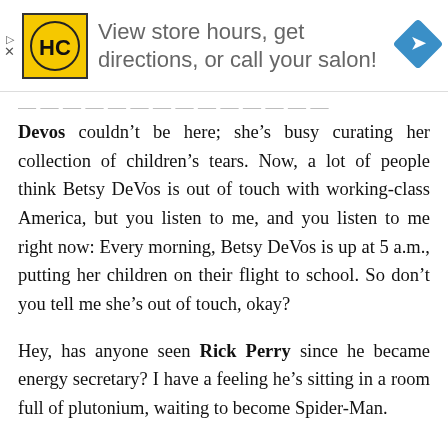[Figure (other): Advertisement banner: HC logo (yellow square with HC letters), text 'View store hours, get directions, or call your salon!', and a blue navigation diamond icon]
Devos couldn't be here; she's busy curating her collection of children's tears. Now, a lot of people think Betsy DeVos is out of touch with working-class America, but you listen to me, and you listen to me right now: Every morning, Betsy DeVos is up at 5 a.m., putting her children on their flight to school. So don't you tell me she's out of touch, okay?
Hey, has anyone seen Rick Perry since he became energy secretary? I have a feeling he's sitting in a room full of plutonium, waiting to become Spider-Man.